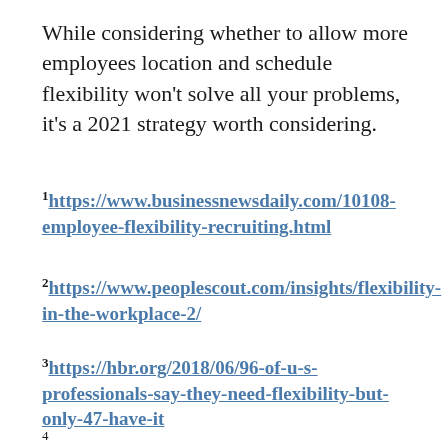While considering whether to allow more employees location and schedule flexibility won't solve all your problems, it's a 2021 strategy worth considering.
1https://www.businessnewsdaily.com/10108-employee-flexibility-recruiting.html
2https://www.peoplescout.com/insights/flexibility-in-the-workplace-2/
3https://hbr.org/2018/06/96-of-u-s-professionals-say-they-need-flexibility-but-only-47-have-it